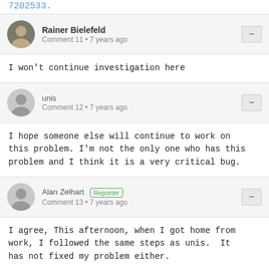7202533.
Rainer Bielefeld
Comment 11 • 7 years ago
I won't continue investigation here
unis
Comment 12 • 7 years ago
I hope someone else will continue to work on this problem. I'm not the only one who has this problem and I think it is a very critical bug.
Alan Zelhart Reporter
Comment 13 • 7 years ago
I agree, This afternoon, when I got home from work, I followed the same steps as unis.  It has not fixed my problem either.